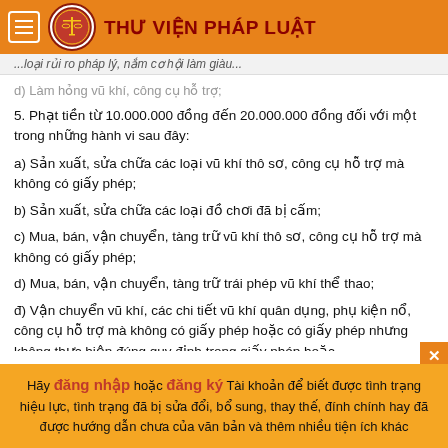THƯ VIỆN PHÁP LUẬT
...loại rủi ro pháp lý, nắm cơ hội làm giàu...
d) Làm hỏng vũ khí, công cụ hỗ trợ;
5. Phạt tiền từ 10.000.000 đồng đến 20.000.000 đồng đối với một trong những hành vi sau đây:
a) Sản xuất, sửa chữa các loại vũ khí thô sơ, công cụ hỗ trợ mà không có giấy phép;
b) Sản xuất, sửa chữa các loại đồ chơi đã bị cấm;
c) Mua, bán, vận chuyển, tàng trữ vũ khí thô sơ, công cụ hỗ trợ mà không có giấy phép;
d) Mua, bán, vận chuyển, tàng trữ trái phép vũ khí thể thao;
đ) Vận chuyển vũ khí, các chi tiết vũ khí quân dụng, phụ kiện nổ, công cụ hỗ trợ mà không có giấy phép hoặc có giấy phép nhưng không thực hiện đúng quy định trong giấy phép hoặc không có các loại giấy tờ khác theo quy định của pháp luật...
Hãy đăng nhập hoặc đăng ký Tài khoản để biết được tình trạng hiệu lực, tình trạng đã bị sửa đổi, bổ sung, thay thế, đính chính hay đã được hướng dẫn chưa của văn bản và thêm nhiều tiện ích khác